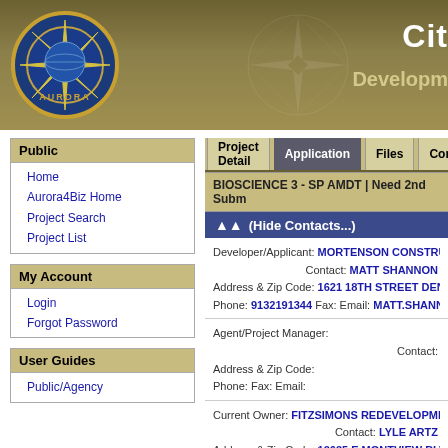City of Aurora - Development
Public
Home
Aurora4Biz Home
Project Search
Project List
My Account
Login
Forgot Password
User Guides
Public/Agency
Project Detail | Application | Files | Comments
BIOSCIENCE 3 - SP AMDT | Need 2nd Subm
(Hide Contacts...)
Developer/Applicant: MORTENSON CONSTRUCTION
Contact: MATT SHANNON
Address & Zip Code: 1621 18TH STREET DENVER CO 80202
Phone: 9132191344 Fax: Email: MATT.SHANNON@MORTENS
Agent/Project Manager:
Contact:
Address & Zip Code:
Phone: Fax: Email:
Current Owner: FITZSIMONS REDEVELOPMENT AUTHO
Contact: LYLE ARTZ
Address & Zip Code: 12635 E MONTVIEW BLVD STE 100 AUR
Phone: 7208594100 Fax: Email: LARTZ@COLOBIO.COM
Architect (If applicable):
Contact: